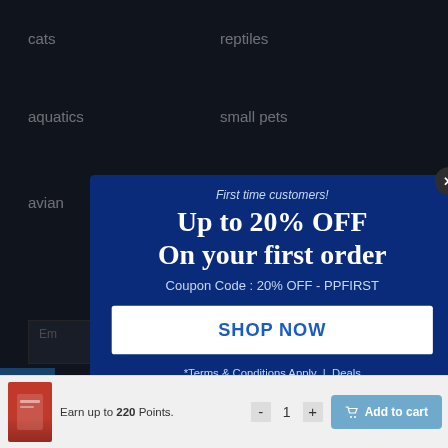cats
reptiles
aquatics
small pets
avian
[Figure (screenshot): Modal popup on a dark navy e-commerce website background showing a promotional offer for first-time customers. The modal has a dark blue background with a close (X) button in the top-right corner. Content includes: 'First time customers!', 'Up to 20% OFF On your first order', 'Coupon Code : 20% OFF - PPFIRST', a white 'SHOP NOW' button in blue text, and footer '*Terms & Conditions Apply | Deals'.]
First time customers!
Up to 20% OFF On your first order
Coupon Code : 20% OFF - PPFIRST
SHOP NOW
*Terms & Conditions Apply  |  Deals
Earn up to 220 Points.
- 1 +
Add to cart